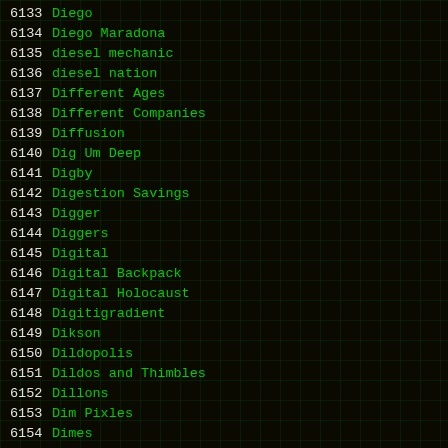6133 Diego
6134 Diego Maradona
6135 diesel mechanic
6136 diesel nation
6137 Different Ages
6138 Different Companies
6139 Diffusion
6140 Dig Um Deep
6141 Digby
6142 Digestion Savings
6143 Digger
6144 Diggers
6145 Digital
6146 Digital Backpack
6147 Digital Holocaust
6148 Digitigradient
6149 Dikson
6150 Dildopolis
6151 Dildos and Thimbles
6152 Dillons
6153 Dim Pixles
6154 Dimes
6155 Dimms Dale Dimmadome